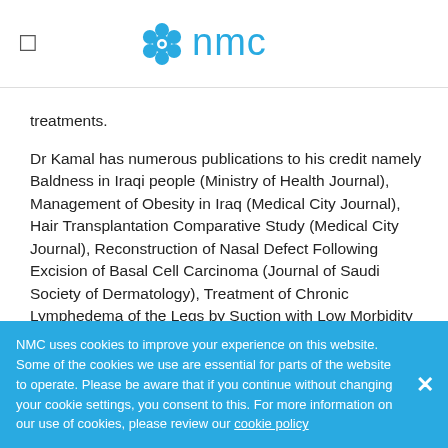NMC logo and menu icon
treatments.
Dr Kamal has numerous publications to his credit namely Baldness in Iraqi people (Ministry of Health Journal), Management of Obesity in Iraq (Medical City Journal), Hair Transplantation Comparative Study (Medical City Journal), Reconstruction of Nasal Defect Following Excision of Basal Cell Carcinoma (Journal of Saudi Society of Dermatology), Treatment of Chronic Lymphedema of the Legs by Suction with Low Morbidity Rate (New Iraqi Journal of Medicine), The Steroid Benefit in Treating Complicated Haemangioma (Indian Journal of Plastic Surgery) & Letter- A-Incision Periareolar Mastopexy with-Breast Augmentation (Iraqi new medical journal)
NMC uses cookies to improve your experience on this website. Some of the cookies we use are essential for parts of the website to operate. Please be aware that if you continue without changing your cookie settings, you consent to this. For more information on our use of cookies, please review our cookie policy